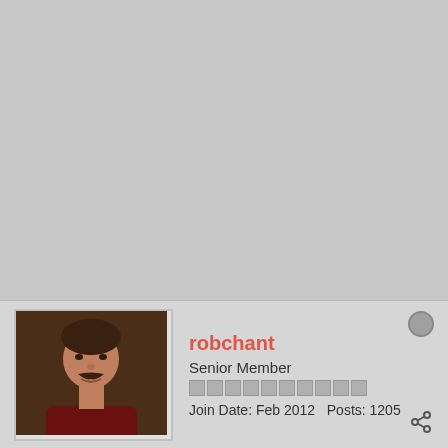[Figure (photo): Large gray placeholder area taking up the top portion of a forum post]
[Figure (photo): Small avatar photo of user robchant, a man with a mustache]
robchant
Senior Member
Join Date: Feb 2012   Posts: 1205